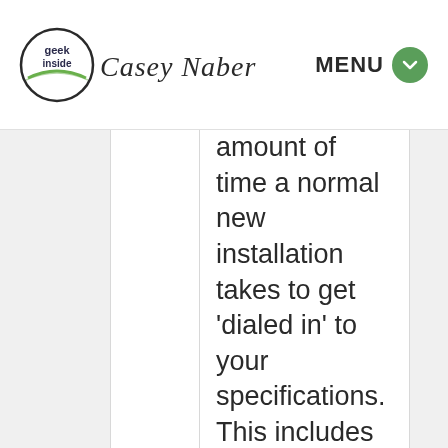Geek Inside Casey Naber — MENU
amount of time a normal new installation takes to get 'dialed in' to your specifications. This includes custom logo placement, fonts, colors and rearranging or adding elements.